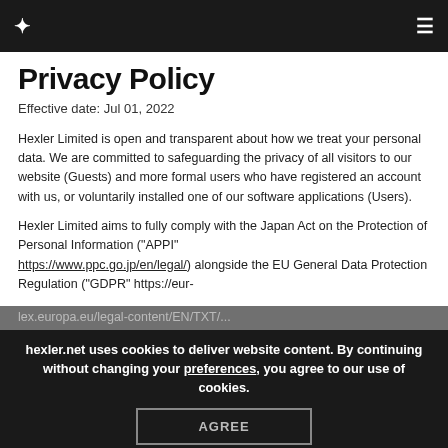Hexler Limited — Privacy Policy navigation bar
Privacy Policy
Effective date: Jul 01, 2022
Hexler Limited is open and transparent about how we treat your personal data. We are committed to safeguarding the privacy of all visitors to our website (Guests) and more formal users who have registered an account with us, or voluntarily installed one of our software applications (Users).
Hexler Limited aims to fully comply with the Japan Act on the Protection of Personal Information ("APPI" https://www.ppc.go.jp/en/legal/) alongside the EU General Data Protection Regulation ("GDPR" https://eur-
Cookie notice: hexler.net uses cookies to deliver website content. By continuing without changing your preferences, you agree to our use of cookies.
AGREE